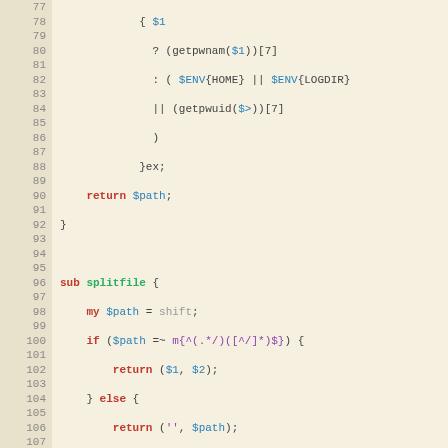[Figure (screenshot): Perl source code snippet with line numbers 77-108, showing subroutines splitfile and complete_file on a beige/tan background with syntax highlighting]